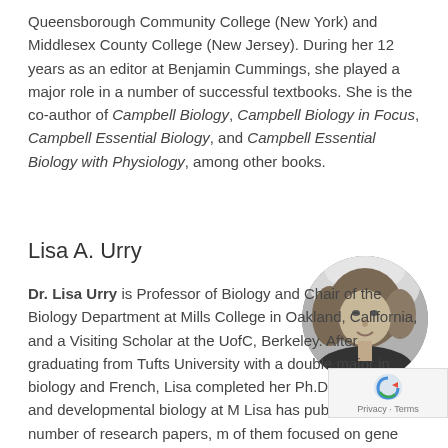Queensborough Community College (New York) and Middlesex County College (New Jersey). During her 12 years as an editor at Benjamin Cummings, she played a major role in a number of successful textbooks. She is the co-author of Campbell Biology, Campbell Biology in Focus, Campbell Essential Biology, and Campbell Essential Biology with Physiology, among other books.
Lisa A. Urry
[Figure (photo): Black and white circular portrait photo of Lisa A. Urry, a woman with shoulder-length wavy hair, smiling.]
Dr. Lisa Urry is Professor of Biology and Chair of the Biology Department at Mills College in Oakland, California, and a Visiting Scholar at the UofC, Berkeley. After graduating from Tufts University with a double major in biology and French, Lisa completed her Ph.D. in molecular and developmental biology at M... Lisa has published a number of research papers, m... of them focused on gene expression during embryonic...